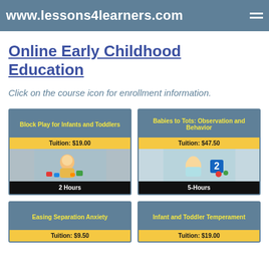www.lessons4learners.com
Online Early Childhood Education
Click on the course icon for enrollment information.
[Figure (infographic): Course card: Block Play for Infants and Toddlers, Tuition: $19.00, 2 Hours, photo of toddler playing with blocks]
[Figure (infographic): Course card: Babies to Tots: Observation and Behavior, Tuition: $47.50, 5-Hours, photo of baby with number 2 block]
[Figure (infographic): Course card: Easing Separation Anxiety, Tuition: $9.50 (partial, card cut off)]
[Figure (infographic): Course card: Infant and Toddler Temperament, Tuition: $19.00 (partial, card cut off)]